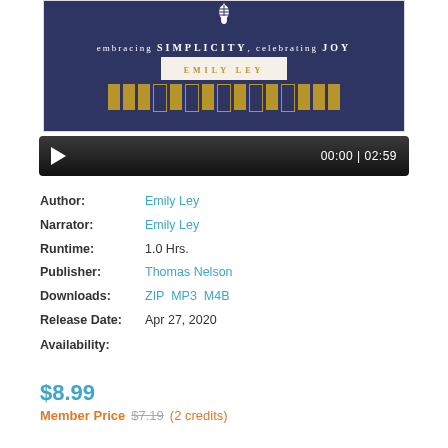[Figure (illustration): Book cover with dark navy blue background, pineapple icon, text 'embracing SIMPLICITY, celebrating JOY', and author name 'EMILY LEY' in a decorative box with gold and navy stripes at the bottom]
[Figure (screenshot): Audio player with black gradient background, white play button triangle on left, and time display '00:00 | 02:59' on the right]
| Author: | Emily Ley |
| Narrator: | Emily Ley |
| Runtime: | 1.0 Hrs. |
| Publisher: | Thomas Nelson |
| Downloads: | ZIP MP3 M4B |
| Release Date: | Apr 27, 2020 |
| Availability: |  |
$8.99
Member Price  $7.19  (2 credits)